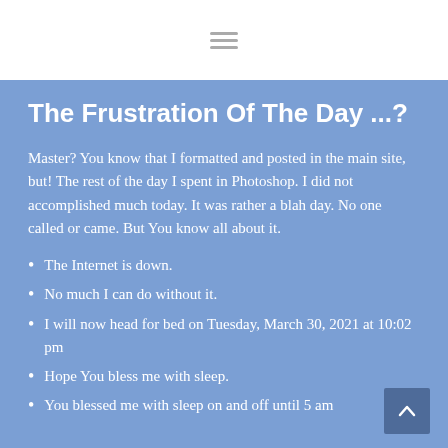The Frustration Of The Day ...?
Master? You know that I formatted and posted in the main site, but! The rest of the day I spent in Photoshop. I did not accomplished much today. It was rather a blah day. No one called or came. But You know all about it.
The Internet is down.
No much I can do without it.
I will now head for bed on Tuesday, March 30, 2021 at 10:02 pm
Hope You bless me with sleep.
You blessed me with sleep on and off until 5 am